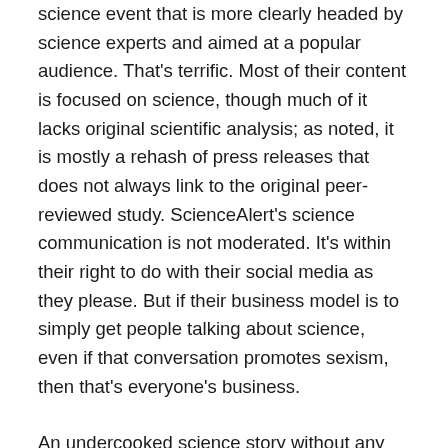science event that is more clearly headed by science experts and aimed at a popular audience. That's terrific. Most of their content is focused on science, though much of it lacks original scientific analysis; as noted, it is mostly a rehash of press releases that does not always link to the original peer-reviewed study. ScienceAlert's science communication is not moderated. It's within their right to do with their social media as they please. But if their business model is to simply get people talking about science, even if that conversation promotes sexism, then that's everyone's business.
An undercooked science story without any science, filed under "Health" without any scientific evidence about health is a bad recipe in science communication. Selling bad science with sex appeal does science communication a